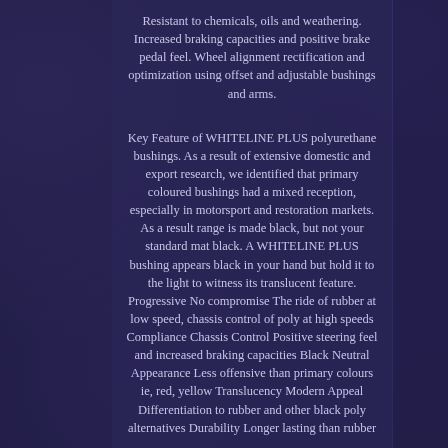Resistant to chemicals, oils and weathering. Increased braking capacities and positive brake pedal feel. Wheel alignment rectification and optimization using offset and adjustable bushings and arms.
Key Feature of WHITELINE PLUS polyurethane bushings. As a result of extensive domestic and export research, we identified that primary coloured bushings had a mixed reception, especially in motorsport and restoration markets. As a result range is made black, but not your standard mat black. A WHITELINE PLUS bushing appears black in your hand but hold it to the light to witness its translucent feature. Progressive No compromise The ride of rubber at low speed, chassis control of poly at high speeds Compliance Chassis Control Positive steering feel and increased braking capacities Black Neutral Appearance Less offensive than primary colours ie, red, yellow Translucency Modern Appeal Differentiation to rubber and other black poly alternatives Durability Longer lasting than rubber